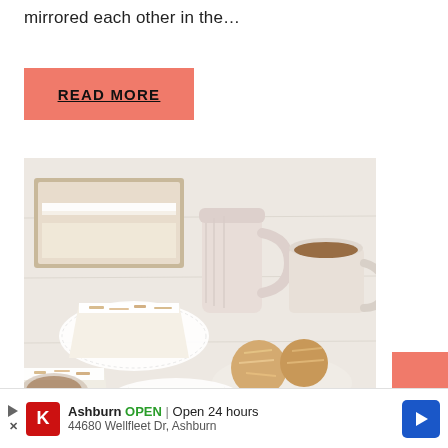mirrored each other in the…
[Figure (other): READ MORE button with salmon/coral background color]
[Figure (photo): Food photography showing coconut cake slices on white plates with a cream pitcher and cup of coffee on a white wooden surface]
[Figure (other): Advertisement bar: Ashburn OPEN | Open 24 hours, 44680 Wellfleet Dr, Ashburn, with Kroger logo and navigation arrow]